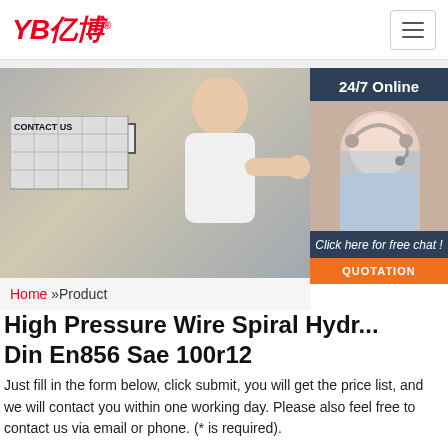[Figure (logo): YB亿博 company logo in red italic text]
[Figure (photo): Trade show booth photo with 'CONTACT US' sign and man giving thumbs up]
[Figure (photo): Side panel with '24/7 Online' text and customer service agent with headset]
Home »Product
High Pressure Wire Spiral Hydr... Din En856 Sae 100r12
Just fill in the form below, click submit, you will get the price list, and we will contact you within one working day. Please also feel free to contact us via email or phone. (* is required).